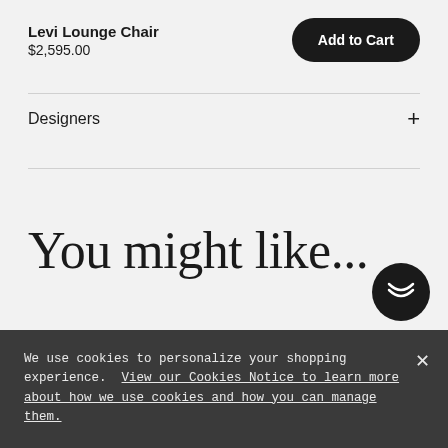Levi Lounge Chair
$2,595.00
Add to Cart
Designers
You might like...
We use cookies to personalize your shopping experience. View our Cookies Notice to learn more about how we use cookies and how you can manage them.